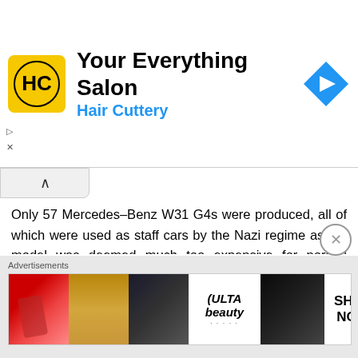[Figure (screenshot): Hair Cuttery ad banner with yellow logo showing HC initials, title 'Your Everything Salon', subtitle 'Hair Cuttery' in blue, and blue navigation arrow icon on the right]
Only 57 Mercedes-Benz W31 G4s were produced, all of which were used as staff cars by the Nazi regime as the model was deemed much too expensive for normal military use.
This most excellent recreation of the G4, complete with neat caricature of a certain moustachioed despot, comes from Flickr's Redfern1950s, who has captured the vehicle brilliantly in his trademark cartoon style. Head to Red's photostream via the link above to join the parade.
[Figure (screenshot): ULTA beauty advertisement banner with images of lips, makeup brush, eye makeup, ULTA logo, and 'SHOP NOW' text]